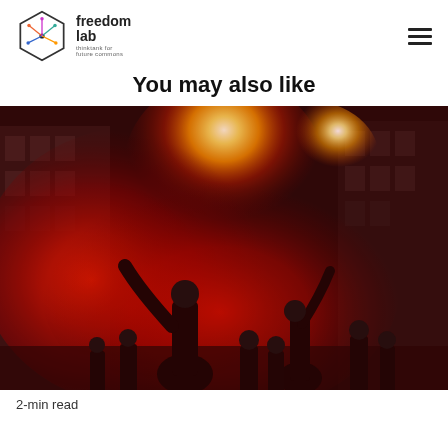freedom lab
You may also like
[Figure (photo): Street protest scene with people holding red flares, creating bright red and yellow smoke clouds, in an urban street with tall buildings on either side.]
2-min read